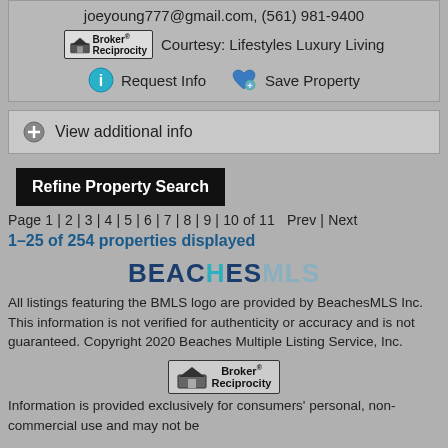joeyoung777@gmail.com, (561) 981-9400
Courtesy: Lifestyles Luxury Living
Request Info   Save Property
View additional info
Refine Property Search
Page 1 | 2 | 3 | 4 | 5 | 6 | 7 | 8 | 9 | 10 of 11   Prev | Next
1–25 of 254 properties displayed
[Figure (logo): BeachesMLS logo with BEACHES in dark blue and MLS in teal/gray]
All listings featuring the BMLS logo are provided by BeachesMLS Inc. This information is not verified for authenticity or accuracy and is not guaranteed. Copyright 2020 Beaches Multiple Listing Service, Inc.
[Figure (logo): Broker Reciprocity logo]
Information is provided exclusively for consumers' personal, non-commercial use and may not be